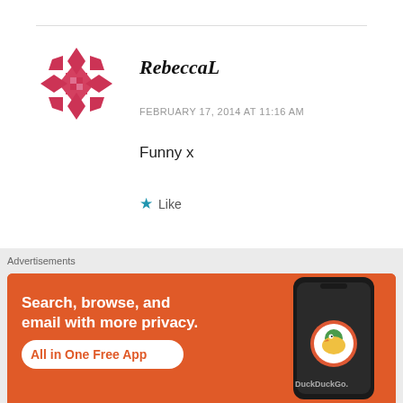[Figure (illustration): Pink/rose diamond-pattern avatar icon for user RebeccaL]
RebeccaL
FEBRUARY 17, 2014 AT 11:16 AM
Funny x
★ Like
[Figure (illustration): Blue circular avatar icon partially visible, for user polymathically]
polymathically
Advertisements
[Figure (screenshot): DuckDuckGo advertisement banner: Search, browse, and email with more privacy. All in One Free App. Shows a phone mockup with DuckDuckGo logo.]